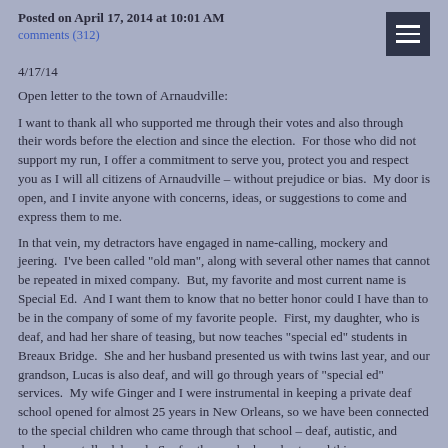Posted on April 17, 2014 at 10:01 AM
comments (312)
4/17/14
Open letter to the town of Arnaudville:
I want to thank all who supported me through their votes and also through their words before the election and since the election.  For those who did not support my run, I offer a commitment to serve you, protect you and respect you as I will all citizens of Arnaudville – without prejudice or bias.  My door is open, and I invite anyone with concerns, ideas, or suggestions to come and express them to me.
In that vein, my detractors have engaged in name-calling, mockery and jeering.  I've been called "old man", along with several other names that cannot be repeated in mixed company.  But, my favorite and most current name is Special Ed.  And I want them to know that no better honor could I have than to be in the company of some of my favorite people.  First, my daughter, who is deaf, and had her share of teasing, but now teaches "special ed" students in Breaux Bridge.  She and her husband presented us with twins last year, and our grandson, Lucas is also deaf, and will go through years of "special ed" services.  My wife Ginger and I were instrumental in keeping a private deaf school opened for almost 25 years in New Orleans, so we have been connected to the special children who came through that school – deaf, autistic, and developmentally delayed.  So, for those who have bestowed this name upon me as a way to ridicule or mock me, I say go ahead.